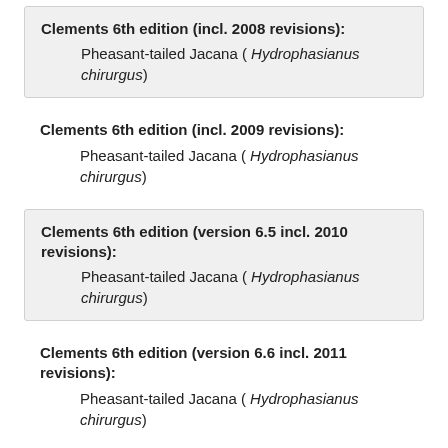Clements 6th edition (incl. 2008 revisions): Pheasant-tailed Jacana ( Hydrophasianus chirurgus)
Clements 6th edition (incl. 2009 revisions): Pheasant-tailed Jacana ( Hydrophasianus chirurgus)
Clements 6th edition (version 6.5 incl. 2010 revisions): Pheasant-tailed Jacana ( Hydrophasianus chirurgus)
Clements 6th edition (version 6.6 incl. 2011 revisions): Pheasant-tailed Jacana ( Hydrophasianus chirurgus)